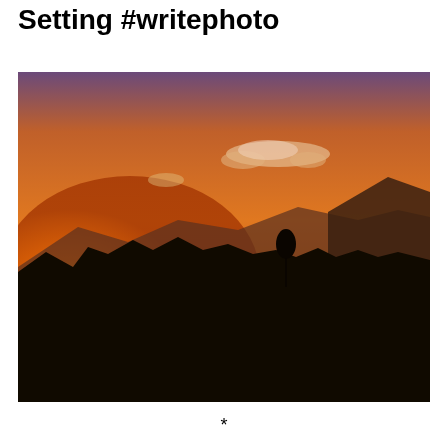Photo prompt round-up: Setting #writephoto
[Figure (photo): A sunset silhouette landscape photograph showing dark rock formations and mountains in the foreground against a warm orange and amber sky with the sun setting behind the hills. A wispy cloud is visible in the upper portion of the image.]
*